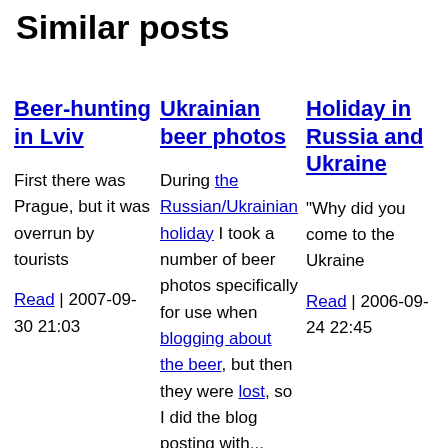Similar posts
Beer-hunting in Lviv
First there was Prague, but it was overrun by tourists
Read | 2007-09-30 21:03
Ukrainian beer photos
During the Russian/Ukrainian holiday I took a number of beer photos specifically for use when blogging about the beer, but then they were lost, so I did the blog posting with...
Holiday in Russia and Ukraine
"Why did you come to the Ukraine
Read | 2006-09-24 22:45